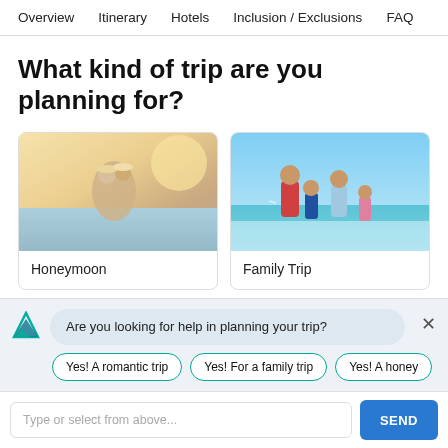Overview   Itinerary   Hotels   Inclusion / Exclusions   FAQ
What kind of trip are you planning for?
[Figure (photo): Card showing a couple on a beach at sunset - Honeymoon option]
Honeymoon
[Figure (photo): Card showing a family running on a beach - Family Trip option]
Family Trip
[Figure (screenshot): Chatbot overlay with message: Are you looking for help in planning your trip? with quick reply buttons: Yes! A romantic trip, Yes! For a family trip, Yes! A honey...]
Are you looking for help in planning your trip?
Yes! A romantic trip
Yes! For a family trip
Yes! A honey...
Type or select from above...
SEND